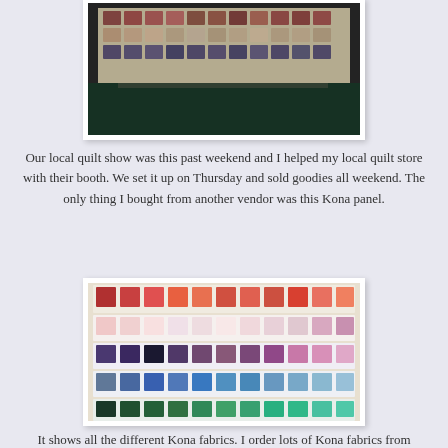[Figure (photo): Photo of a quilt or fabric display on a table with grid-like colorful fabric squares visible from above]
Our local quilt show was this past weekend and I helped my local quilt store with their booth. We set it up on Thursday and sold goodies all weekend. The only thing I bought from another vendor was this Kona panel.
[Figure (photo): Photo of Kona fabric color cards/swatches fanned out showing many colors including reds, pinks, purples, blues, greens, and other colors arranged in a grid pattern on each card]
It shows all the different Kona fabrics. I order lots of Kona fabrics from Joann's and I have wanted one of their color cards, but they are really expensive. This panel was only $12!